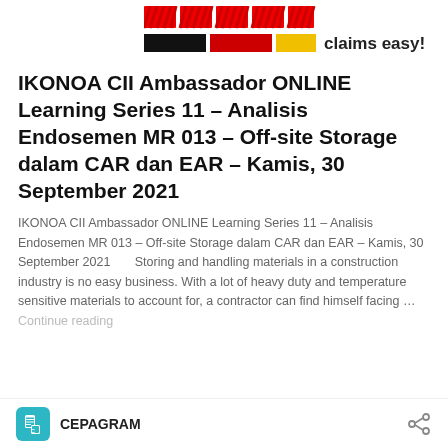claims easy!
IKONOA CII Ambassador ONLINE Learning Series 11 – Analisis Endosemen MR 013 – Off-site Storage dalam CAR dan EAR – Kamis, 30 September 2021
IKONOA CII Ambassador ONLINE Learning Series 11 – Analisis Endosemen MR 013 – Off-site Storage dalam CAR dan EAR – Kamis, 30 September 2021       Storing and handling materials in a construction industry is no easy business. With a lot of heavy duty and temperature sensitive materials to account for, a contractor can find himself facing … Continue reading
CEPAGRAM